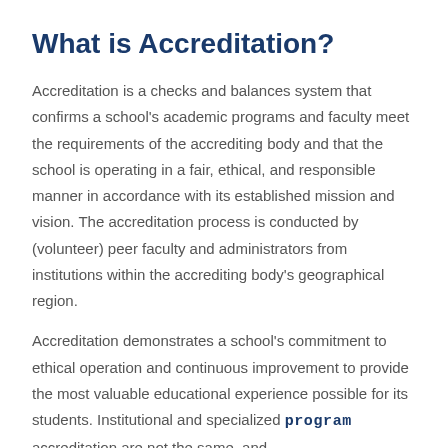What is Accreditation?
Accreditation is a checks and balances system that confirms a school's academic programs and faculty meet the requirements of the accrediting body and that the school is operating in a fair, ethical, and responsible manner in accordance with its established mission and vision. The accreditation process is conducted by (volunteer) peer faculty and administrators from institutions within the accrediting body's geographical region.
Accreditation demonstrates a school's commitment to ethical operation and continuous improvement to provide the most valuable educational experience possible for its students. Institutional and specialized program accreditation are not the same, and